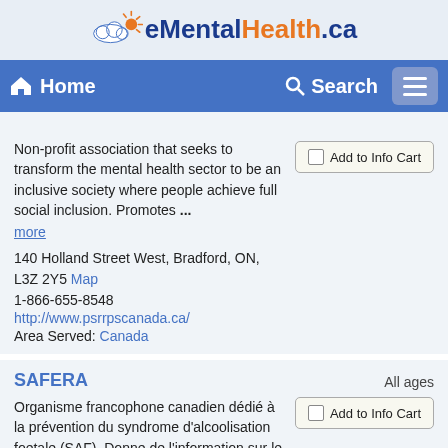[Figure (logo): eMentalHealth.ca logo with cloud and sun icon]
Home   Search
Non-profit association that seeks to transform the mental health sector to be an inclusive society where people achieve full social inclusion. Promotes ... more
140 Holland Street West, Bradford, ON, L3Z 2Y5 Map
1-866-655-8548
http://www.psrrpscanada.ca/
Area Served: Canada
SAFERA
All ages
Organisme francophone canadien dédié à la prévention du syndrome d'alcoolisation foetale (SAF). Donne de l'information sur le TSAF (trouble du